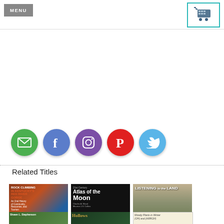MENU
[Figure (illustration): Shopping cart icon in teal border box]
[Figure (illustration): Row of five social media icons: email (green), Facebook (blue), Instagram (purple), Pinterest (red), Twitter (light blue)]
Related Titles
[Figure (illustration): Book cover: Rock Climbing in Kentucky's Red River Gorge - An Oral History of Community, Resources, and Tourism by James N. Mugles]
[Figure (illustration): Book cover: 21st Century Atlas of the Moon by Charles A. Wood and Maurice J.S. Collins]
[Figure (illustration): Book cover: Listening to the Land]
[Figure (illustration): Partial book cover at bottom left (nature/outdoor)]
[Figure (illustration): Partial book cover: Hollows]
[Figure (illustration): Partial book cover: Woody Plants in Winter (OH) and (ARRGH)]